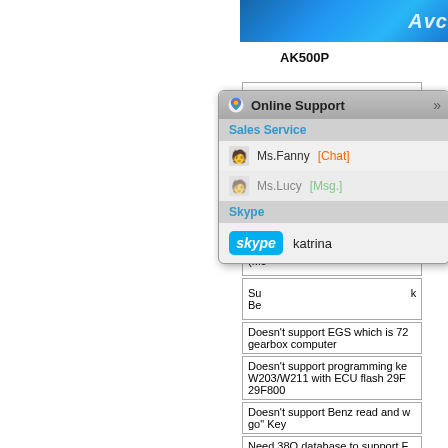[Figure (screenshot): Online Support popup overlay showing Sales Service with Ms.Fanny [Chat] and Ms.Lucy [Msg.] contacts, and Skype section with katrina username]
AK500P
| AK... |
| Re... HO... |
| No... |
| Ne... dat... |
| Do... (Mc... |
| Su... Be... |
| Doesn't support EGS which is 72... gearbox computer |
| Doesn't support programming ke... W203/W211 with ECU flash 29F... 29F800 |
| Doesn't support Benz read and w... go" Key |
| Need 38Q database to support F... |